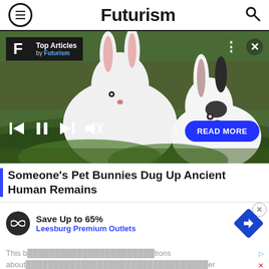Futurism
[Figure (screenshot): Media card showing photo of two white rabbits in grass with Top Articles overlay by Futurism, media playback controls, and READ MORE button]
Someone's Pet Bunnies Dug Up Ancient Human Remains
[Figure (screenshot): Advertisement banner: Save Up to 65% - Leesburg Premium Outlets with Infinity loop logo and navigation arrow icon]
This b... tions about... er time.... ck